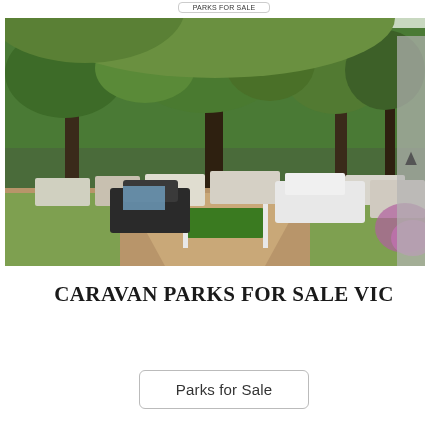[Figure (photo): Outdoor photo of a caravan park with trees in foreground, caravans, motorhomes and cars parked in dusty grounds, green hedges and shrubs visible]
CARAVAN PARKS FOR SALE VIC
Parks for Sale